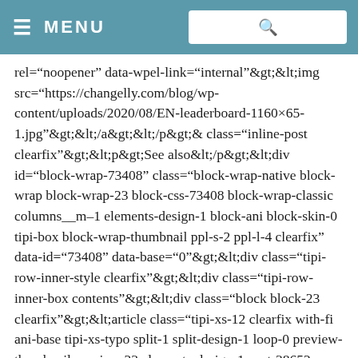≡ MENU
rel="noopener" data-wpel-link="internal"&amp;gt;&amp;lt;img src="https://changelly.com/blog/wp-content/uploads/2020/08/EN-leaderboard-1160×65-1.jpg"&amp;gt;&amp;lt;/a&amp;gt;&amp;lt;/p&amp;gt;&amp; class="inline-post clearfix"&amp;gt;&amp;lt;p&amp;gt;See also&amp;lt;/p&amp;gt;&amp;lt;div id="block-wrap-73408" class="block-wrap-native block-wrap block-wrap-23 block-css-73408 block-wrap-classic columns__m–1 elements-design-1 block-ani block-skin-0 tipi-box block-wrap-thumbnail ppl-s-2 ppl-l-4 clearfix" data-id="73408" data-base="0"&amp;gt;&amp;lt;div class="tipi-row-inner-style clearfix"&amp;gt;&amp;lt;div class="tipi-row-inner-box contents"&amp;gt;&amp;lt;div class="block block-23 clearfix"&amp;gt;&amp;lt;article class="tipi-xs-12 clearfix with-fi ani-base tipi-xs-typo split-1 split-design-1 loop-0 preview-thumbnail preview-23 elements-design-1 post-38652